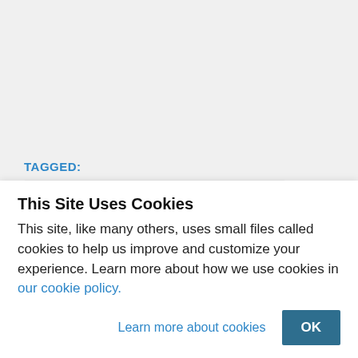TAGGED: Association of Employment Agencies (Singapore)
Demanding families
Domestic Workers
Employers too harsh
High drop-out rate
K Jayprema
Lacking compassion
Lazy maids
Maids
Ministry of Manpower
Singapore
This Site Uses Cookies
This site, like many others, uses small files called cookies to help us improve and customize your experience. Learn more about how we use cookies in our cookie policy.
Learn more about cookies
OK